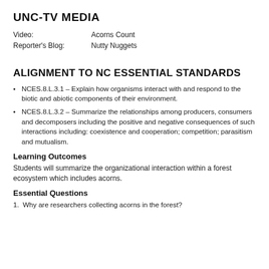UNC-TV MEDIA
Video:   Acorns Count
Reporter's Blog:   Nutty Nuggets
ALIGNMENT TO NC ESSENTIAL STANDARDS
NCES.8.L.3.1 – Explain how organisms interact with and respond to the biotic and abiotic components of their environment.
NCES.8.L.3.2 – Summarize the relationships among producers, consumers and decomposers including the positive and negative consequences of such interactions including: coexistence and cooperation; competition; parasitism and mutualism.
Learning Outcomes
Students will summarize the organizational interaction within a forest ecosystem which includes acorns.
Essential Questions
1. Why are researchers collecting acorns in the forest?